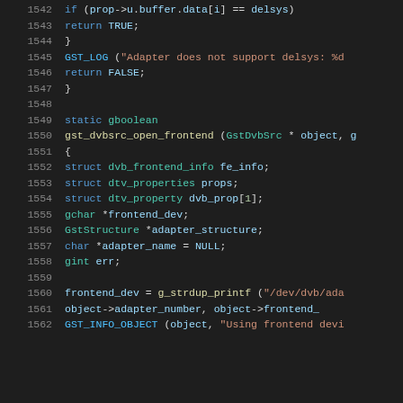[Figure (screenshot): Source code listing in a dark-themed code editor showing C code lines 1542–1562, implementing DVB source frontend functions with syntax highlighting.]